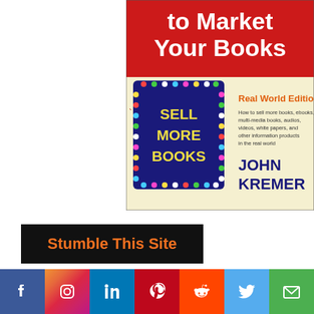[Figure (illustration): Book cover for 'Sell More Books: 1001 Ways to Market Your Books, Real World Edition' by John Kremer. Red top banner with white bold text reading 'to Market Your Books'. Below is a cream/yellow background with a marquee-lit sign reading 'SELL MORE BOOKS'. Right side shows 'Real World Edition' in bold orange, subtitle text describing the book, and 'JOHN KREMER' in large dark blue text.]
[Figure (illustration): Black button with orange bold text reading 'Stumble This Site']
Recent Posts
[Figure (infographic): Social media share bar with icons for Facebook (blue), Instagram (gradient pink/purple), LinkedIn (blue), Pinterest (red), Reddit (orange-red), Twitter (light blue), and Email (green).]